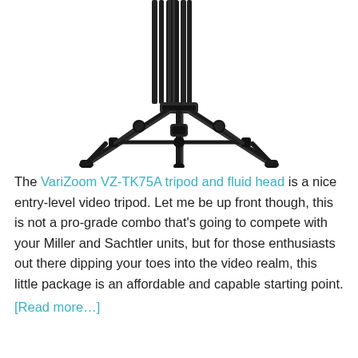[Figure (photo): A black video tripod (VariZoom VZ-TK75A) with fluid head shown from the lower portion, with extending legs and center column visible against white background.]
The VariZoom VZ-TK75A tripod and fluid head is a nice entry-level video tripod. Let me be up front though, this is not a pro-grade combo that’s going to compete with your Miller and Sachtler units, but for those enthusiasts out there dipping your toes into the video realm, this little package is an affordable and capable starting point.
[Read more…]